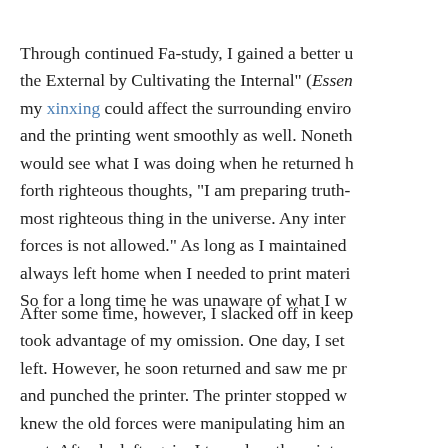Through continued Fa-study, I gained a better understanding of "Eliminate the External by Cultivating the Internal" (Essentials for Further Advancement). my xinxing could affect the surrounding environment, and the printing went smoothly as well. Nonetheless, he would see what I was doing when he returned home, I sent forth righteous thoughts, "I am preparing truth-clarifying materials, the most righteous thing in the universe. Any interference by the old forces is not allowed." As long as I maintained righteous thoughts, he always left home when I needed to print materials. So for a long time he was unaware of what I was doing.
After some time, however, I slacked off in keeping up, and the old forces took advantage of my omission. One day, I set up the printer and waited until he left. However, he soon returned and saw me printing. He got very angry and punched the printer. The printer stopped working. At that moment, I knew the old forces were manipulating him and decided what to do next. After he left again, I turned on the printer...